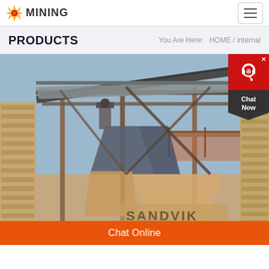MINING
PRODUCTS
You Are Here:   HOME / internal
[Figure (photo): Industrial mining machinery with conveyor belts and structural steel framework, showing a Sandvik branded crushing/screening plant at a construction or mining site. Blue sky background with wooden wall structure visible on the left.]
Chat Online